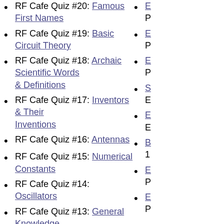RF Cafe Quiz #20: Famous First Names
RF Cafe Quiz #19: Basic Circuit Theory
RF Cafe Quiz #18: Archaic Scientific Words & Definitions
RF Cafe Quiz #17: Inventors & Their Inventions
RF Cafe Quiz #16: Antennas
RF Cafe Quiz #15: Numerical Constants
RF Cafe Quiz #14: Oscillators
RF Cafe Quiz #13: General Knowledge
RF Cafe Quiz #12: Electronics Corporations Headquarters
RF Cafe Quiz #11: Famous Inventors & Scientists
E... P...
E... P...
E... P...
S... E...
E... E...
B... 1...
E... P...
E... P...